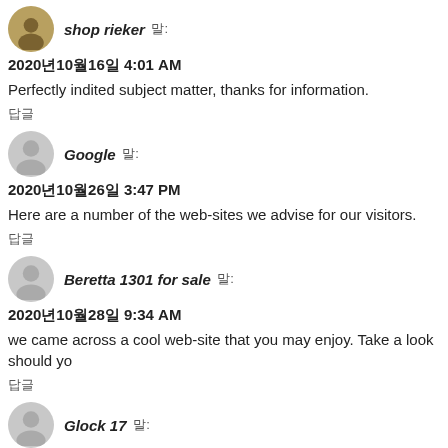shop rieker 말:
2020년10월16일 4:01 AM
Perfectly indited subject matter, thanks for information.
답글
Google 말:
2020년10월26일 3:47 PM
Here are a number of the web-sites we advise for our visitors.
답글
Beretta 1301 for sale 말:
2020년10월28일 9:34 AM
we came across a cool web-site that you may enjoy. Take a look should yo
답글
Glock 17 말:
2020년10월28일 7:40 PM
below you will locate the link to some internet sites that we consider it is be
답글
VAPE PEN 말:
2020년10월30일 3:50 AM